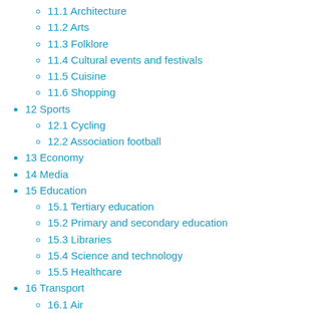11.1 Architecture
11.2 Arts
11.3 Folklore
11.4 Cultural events and festivals
11.5 Cuisine
11.6 Shopping
12 Sports
12.1 Cycling
12.2 Association football
13 Economy
14 Media
15 Education
15.1 Tertiary education
15.2 Primary and secondary education
15.3 Libraries
15.4 Science and technology
15.5 Healthcare
16 Transport
16.1 Air
16.2 Water
16.3 Train
16.4 Public transport
16.4.1 Metro, trams and buses